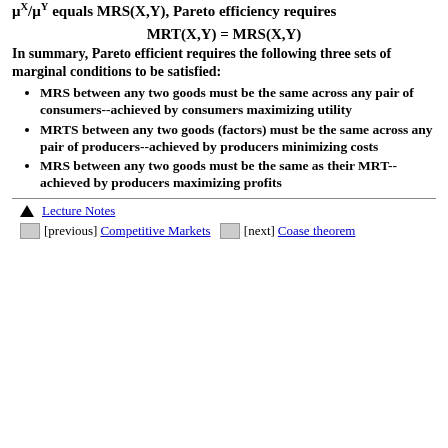μˣ/μʸ equals MRS(X,Y), Pareto efficiency requires
In summary, Pareto efficient requires the following three sets of marginal conditions to be satisfied:
MRS between any two goods must be the same across any pair of consumers--achieved by consumers maximizing utility
MRTS between any two goods (factors) must be the same across any pair of producers--achieved by producers minimizing costs
MRS between any two goods must be the same as their MRT--achieved by producers maximizing profits
▲ Lecture Notes  [previous] Competitive Markets  [next] Coase theorem